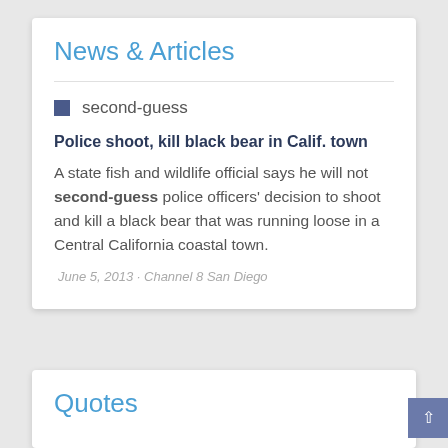News & Articles
second-guess
Police shoot, kill black bear in Calif. town
A state fish and wildlife official says he will not second-guess police officers' decision to shoot and kill a black bear that was running loose in a Central California coastal town.
June 5, 2013 · Channel 8 San Diego
Quotes